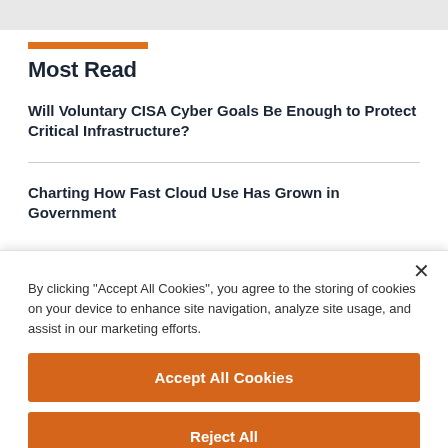Most Read
Will Voluntary CISA Cyber Goals Be Enough to Protect Critical Infrastructure?
Charting How Fast Cloud Use Has Grown in Government
By clicking "Accept All Cookies", you agree to the storing of cookies on your device to enhance site navigation, analyze site usage, and assist in our marketing efforts.
Accept All Cookies
Reject All
Cookies Settings